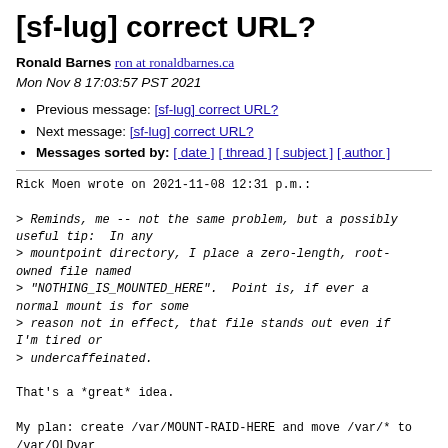[sf-lug] correct URL?
Ronald Barnes ron at ronaldbarnes.ca
Mon Nov 8 17:03:57 PST 2021
Previous message: [sf-lug] correct URL?
Next message: [sf-lug] correct URL?
Messages sorted by: [ date ] [ thread ] [ subject ] [ author ]
Rick Moen wrote on 2021-11-08 12:31 p.m.:

> Reminds, me -- not the same problem, but a possibly useful tip:  In any
> mountpoint directory, I place a zero-length, root-owned file named
> "NOTHING_IS_MOUNTED_HERE".  Point is, if ever a normal mount is for some
> reason not in effect, that file stands out even if I'm tired or
> undercaffeinated.

That's a *great* idea.

My plan: create /var/MOUNT-RAID-HERE and move /var/* to /var/OLDvar